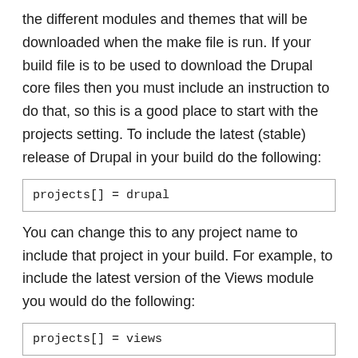the different modules and themes that will be downloaded when the make file is run. If your build file is to be used to download the Drupal core files then you must include an instruction to do that, so this is a good place to start with the projects setting. To include the latest (stable) release of Drupal in your build do the following:
You can change this to any project name to include that project in your build. For example, to include the latest version of the Views module you would do the following: